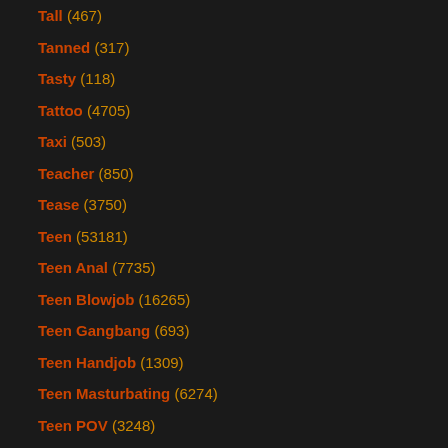Tall (467)
Tanned (317)
Tasty (118)
Tattoo (4705)
Taxi (503)
Teacher (850)
Tease (3750)
Teen (53181)
Teen Anal (7735)
Teen Blowjob (16265)
Teen Gangbang (693)
Teen Handjob (1309)
Teen Masturbating (6274)
Teen POV (3248)
Teen Shemale (574)